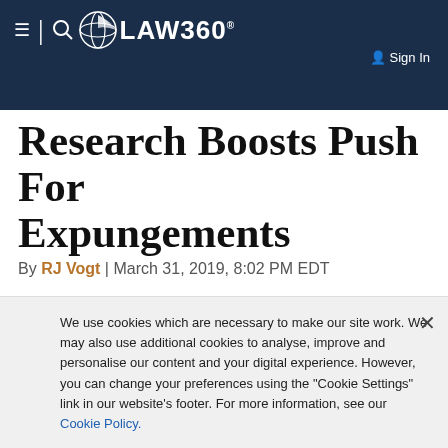LAW360 | Sign In
Research Boosts Push For Expungements
By RJ Vogt | March 31, 2019, 8:02 PM EDT
Like most other states that allow people to clear their crimin…
We use cookies which are necessary to make our site work. We may also use additional cookies to analyse, improve and personalise our content and your digital experience. However, you can change your preferences using the "Cookie Settings" link in our website's footer. For more information, see our Cookie Policy.